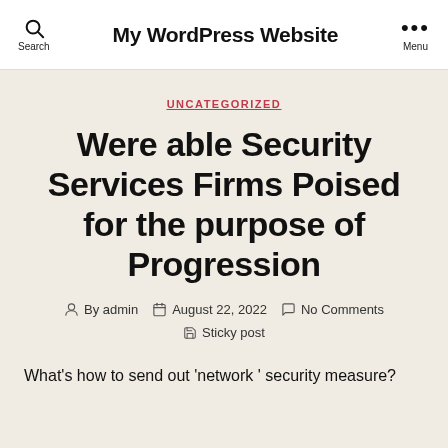My WordPress Website
UNCATEGORIZED
Were able Security Services Firms Poised for the purpose of Progression
By admin  August 22, 2022  No Comments  Sticky post
What's how to send out 'network ' security measure?